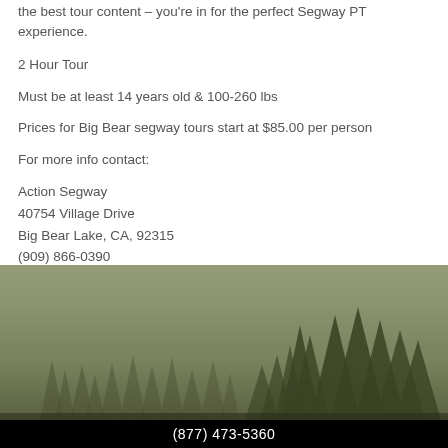the best tour content – you're in for the perfect Segway PT experience.
2 Hour Tour
Must be at least 14 years old & 100-260 lbs
Prices for Big Bear segway tours start at $85.00 per person
For more info contact:
Action Segway
40754 Village Drive
Big Bear Lake, CA, 92315
(909) 866-0390
[Figure (photo): Misty forest scene with silhouetted pine trees against a grey-green sky]
(877) 473-5360